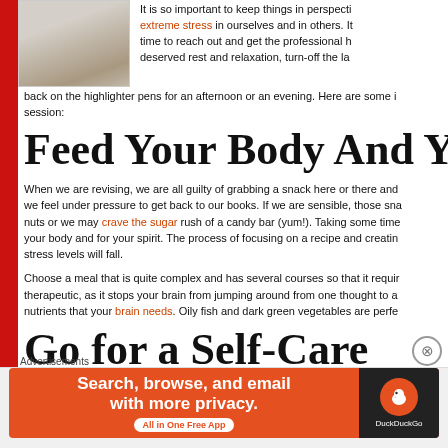[Figure (photo): Photo of a cat resting on a light-colored surface]
It is so important to keep things in perspective. extreme stress in ourselves and in others. It is time to reach out and get the professional help. deserved rest and relaxation, turn-off the lap back on the highlighter pens for an afternoon or an evening. Here are some ideas to start your session:
Feed Your Body And Ye
When we are revising, we are all guilty of grabbing a snack here or there and we feel under pressure to get back to our books. If we are sensible, those snacks might be nuts or we may crave the sugar rush of a candy bar (yum!). Taking some time to cook is great for your body and for your spirit. The process of focusing on a recipe and creating a meal means stress levels will fall.
Choose a meal that is quite complex and has several courses so that it requires therapeutic, as it stops your brain from jumping around from one thought to another. nutrients that your brain needs. Oily fish and dark green vegetables are perfect.
Go for a Self-Care
Advertisements
[Figure (screenshot): DuckDuckGo advertisement banner: Search, browse, and email with more privacy. All in One Free App]